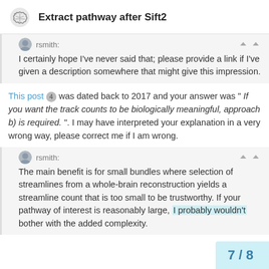Extract pathway after Sift2
rsmith:
I certainly hope I've never said that; please provide a link if I've given a description somewhere that might give this impression.
This post 4 was dated back to 2017 and your answer was " If you want the track counts to be biologically meaningful, approach b) is required. ". I may have interpreted your explanation in a very wrong way, please correct me if I am wrong.
rsmith:
The main benefit is for small bundles where selection of streamlines from a whole-brain reconstruction yields a streamline count that is too small to be trustworthy. If your pathway of interest is reasonably large, I probably wouldn't bother with the added complexity.
7 / 8